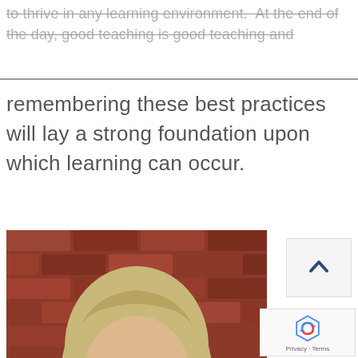to thrive in any learning environment. At the end of the day, good teaching is good teaching and remembering these best practices will lay a strong foundation upon which learning can occur.
[Figure (photo): Headshot of a smiling young woman with long blonde hair wearing a blue polo shirt, photographed against a red brick wall background.]